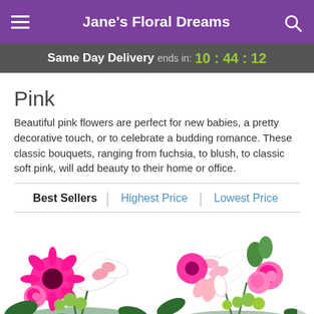Jane's Floral Dreams
Same Day Delivery ends in: 10:44:12
Pink
Beautiful pink flowers are perfect for new babies, a pretty decorative touch, or to celebrate a budding romance. These classic bouquets, ranging from fuchsia, to blush, to classic soft pink, will add beauty to their home or office.
Best Sellers | Highest Price | Lowest Price
[Figure (photo): Two pink flower bouquets side by side: left bouquet with pink gerbera daisies, pink lilies, green button flowers; right bouquet with pink roses, pink lilies, green flowers and greenery.]